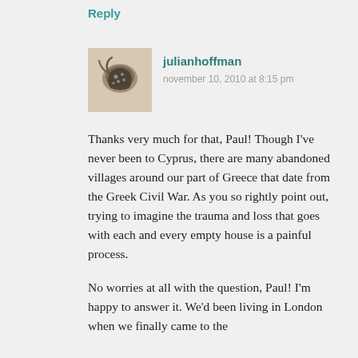Reply
[Figure (photo): Small avatar photo of a dark curved object (possibly a snail or insect) on a light rocky surface]
julianhoffman
november 10, 2010 at 8:15 pm
Thanks very much for that, Paul! Though I've never been to Cyprus, there are many abandoned villages around our part of Greece that date from the Greek Civil War. As you so rightly point out, trying to imagine the trauma and loss that goes with each and every empty house is a painful process.
No worries at all with the question, Paul! I'm happy to answer it. We'd been living in London when we finally came to the